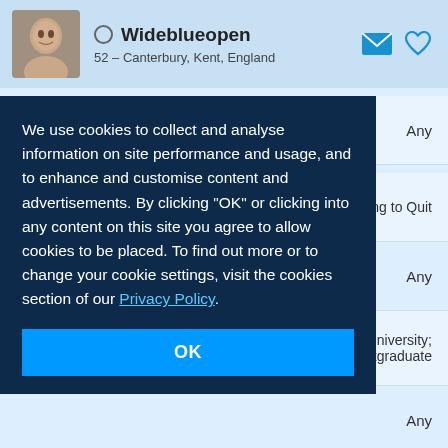Wideblueopen — 52 – Canterbury, Kent, England
Daily diet: Any
Smoking: Never; Occasionally; Trying to Quit
We use cookies to collect and analyse information on site performance and usage, and to enhance and customise content and advertisements. By clicking "OK" or clicking into any content on this site you agree to allow cookies to be placed. To find out more or to change your cookie settings, visit the cookies section of our Privacy Policy.
OK